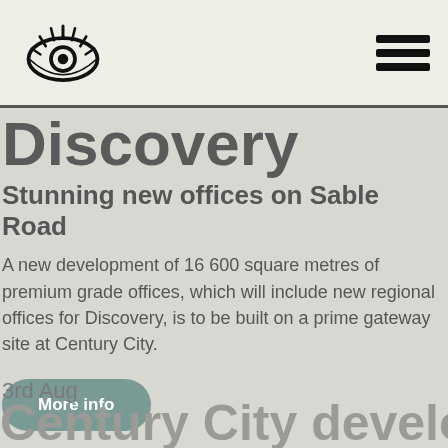Discovery logo and navigation hamburger menu
Discovery
Stunning new offices on Sable Road
A new development of 16 600 square metres of premium grade offices, which will include new regional offices for Discovery, is to be built on a prime gateway site at Century City.
More info
3rd Aug